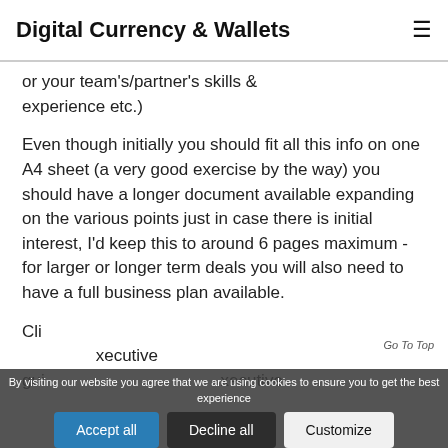Digital Currency & Wallets
or your team's/partner's skills & experience etc.)
Even though initially you should fit all this info on one A4 sheet (a very good exercise by the way) you should have a longer document available expanding on the various points just in case there is initial interest, I'd keep this to around 6 pages maximum - for larger or longer term deals you will also need to have a full business plan available.
Click here to access the template guide on how to write an executive
By visiting our website you agree that we are using cookies to ensure you to get the best experience
Accept all
Decline all
Customize